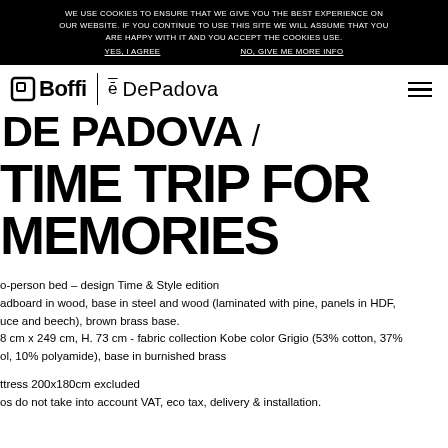WE USE COOKIES TO ENSURE THAT WE GIVE YOU THE BEST EXPERIENCE ON OUR WEBSITE. IF YOU CONTINUE TO USE THIS SITE WE WILL ASSUME THAT YOU ARE HAPPY WITH IT AND YOU ACCEPT THE COOKIES USE. YES, I AGREE   NO, GIVE ME MORE INFO
[Figure (logo): Boffi e DePadova brand logo with navigation hamburger menu]
DE PADOVA /
TIME TRIP FOR MEMORIES
o-person bed – design Time & Style edition
adboard in wood, base in steel and wood (laminated with pine, panels in HDF,
uce and beech), brown brass base.
8 cm x 249 cm, H. 73 cm - fabric collection Kobe color Grigio (53% cotton, 37%
ol, 10% polyamide), base in burnished brass
ttress 200x180cm excluded
os do not take into account VAT, eco tax, delivery & installation.